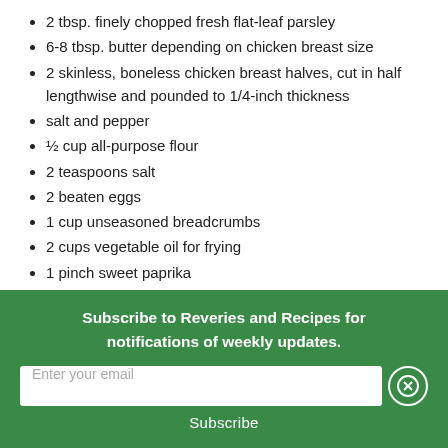2 tbsp. finely chopped fresh flat-leaf parsley
6-8 tbsp. butter depending on chicken breast size
2 skinless, boneless chicken breast halves, cut in half lengthwise and pounded to 1/4-inch thickness
salt and pepper
½ cup all-purpose flour
2 teaspoons salt
2 beaten eggs
1 cup unseasoned breadcrumbs
2 cups vegetable oil for frying
1 pinch sweet paprika
Subscribe to Reveries and Recipes for notifications of weekly updates.
Enter your email
Subscribe